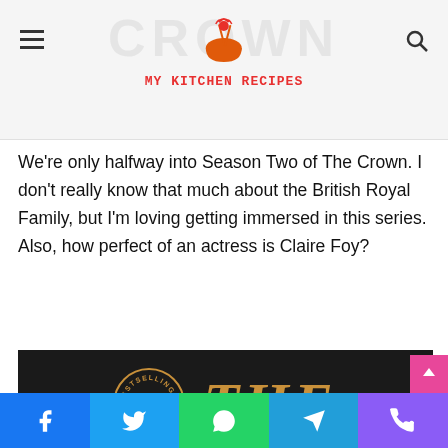My Kitchen Recipes
We're only halfway into Season Two of The Crown. I don't really know that much about the British Royal Family, but I'm loving getting immersed in this series. Also, how perfect of an actress is Claire Foy?
[Figure (photo): Book cover with dark background showing 'THE INVISIBLE' text in golden decorative font with a No.1 New York Times Bestselling Author circular badge]
Social share buttons: Facebook, Twitter, WhatsApp, Telegram, Phone